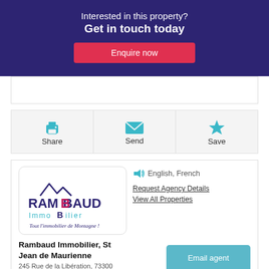Interested in this property?
Get in touch today
Enquire now
[Figure (other): Three action buttons: Share (printer icon), Send (envelope icon), Save (star icon)]
[Figure (logo): Rambaud Immobilier logo with mountains and text 'Tout l'immobilier de Montagne!']
English, French
Request Agency Details
View All Properties
Rambaud Immobilier, St Jean de Maurienne
Email agent